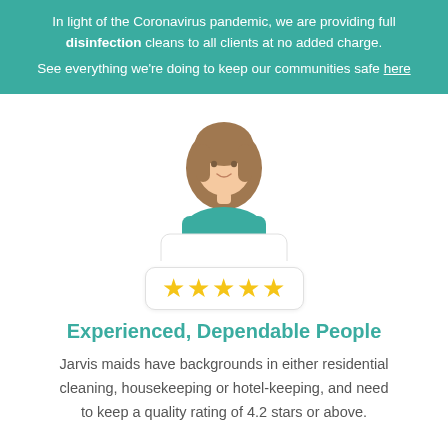In light of the Coronavirus pandemic, we are providing full disinfection cleans to all clients at no added charge. See everything we're doing to keep our communities safe here
[Figure (illustration): Cartoon avatar of a woman with brown hair wearing a teal top, shown from the shoulders up, with a white rounded-rectangle box below containing five gold stars]
Experienced, Dependable People
Jarvis maids have backgrounds in either residential cleaning, housekeeping or hotel-keeping, and need to keep a quality rating of 4.2 stars or above.